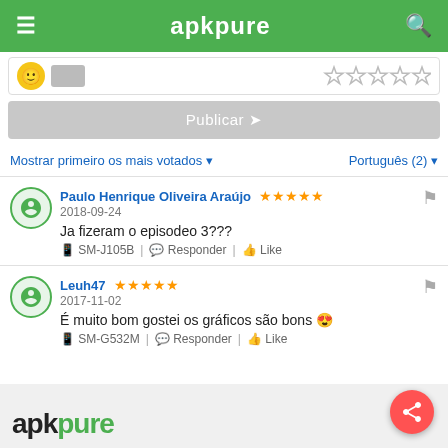apkpure
[Figure (screenshot): Partial review input card with emoji, image placeholder, and star rating outline]
[Figure (screenshot): Publicar (Publish) button with arrow icon]
Mostrar primeiro os mais votados ▾     Português (2) ▾
Paulo Henrique Oliveira Araújo ★★★★★
2018-09-24
Ja fizeram o episodeo 3???
□ SM-J105B | 💬 Responder | 👍 Like
Leuh47 ★★★★★
2017-11-02
É muito bom gostei os gráficos são bons 😎
□ SM-G532M | 💬 Responder | 👍 Like
apkpure